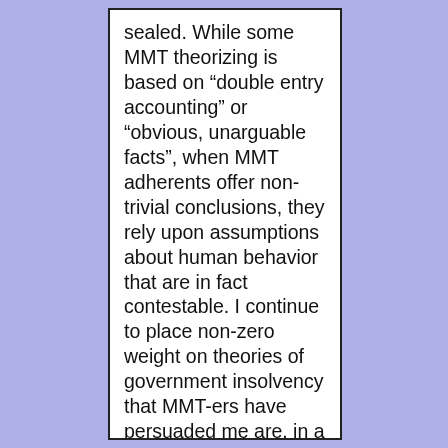sealed. While some MMT theorizing is based on “double entry accounting” or “obvious, unarguable facts”, when MMT adherents offer non-trivial conclusions, they rely upon assumptions about human behavior that are in fact contestable. I continue to place non-zero weight on theories of government insolvency that MMT-ers have persuaded me are, in a sense, incoherent. Life is